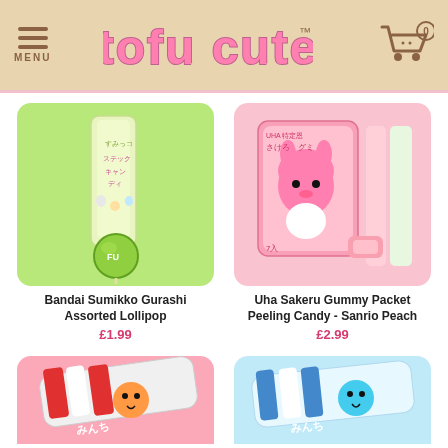MENU | tofu cute™ | Cart 0
[Figure (photo): Bandai Sumikko Gurashi Assorted Lollipop product on green background]
Bandai Sumikko Gurashi Assorted Lollipop
£1.99
[Figure (photo): Uha Sakeru Gummy Packet Peeling Candy - Sanrio Peach product on pink background]
Uha Sakeru Gummy Packet Peeling Candy - Sanrio Peach
£2.99
[Figure (photo): Japanese candy stick on pink/light pink background - partially visible]
[Figure (photo): Japanese candy stick on light blue background - partially visible]